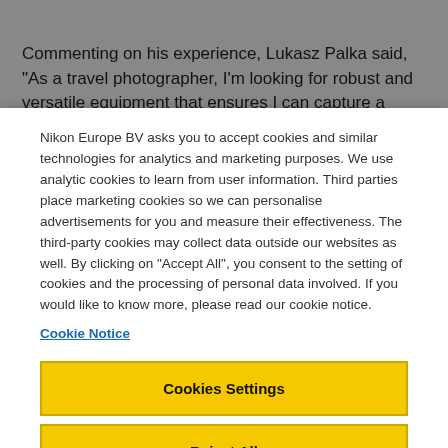Commenting on his experience, Lukasz Palka said, “As a travel photographer, I’m looking for robust and versatile equipment that ensures I can capture a range of shots from just one camera
Nikon Europe BV asks you to accept cookies and similar technologies for analytics and marketing purposes. We use analytic cookies to learn from user information. Third parties place marketing cookies so we can personalise advertisements for you and measure their effectiveness. The third-party cookies may collect data outside our websites as well. By clicking on “Accept All”, you consent to the setting of cookies and the processing of personal data involved. If you would like to know more, please read our cookie notice.
Cookie Notice
Cookies Settings
Reject All